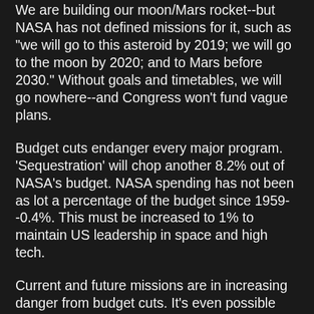We are building our moon/Mars rocket--but NASA has not defined missions for it, such as "we will go to this asteroid by 2019; we will go to the moon by 2020; and to Mars before 2030." Without goals and timetables, we will go nowhere--and Congress won't fund vague plans.
Budget cuts endanger every major program. 'Sequestration' will chop another 8.2% out of NASA's budget. NASA spending has not been as lot a percentage of the budget since 1959--0.4%. This must be increased to 1% to maintain US leadership in space and high tech.
Current and future missions are in increasing danger from budget cuts. It's even possible some existing probes might even be shut down and abandoned due to budget cuts--years before their lifespan would be over.
China and Russia are gearing up to fill the vacuum, with plans for lunar bases, lunar mining, and eventually trips to Mars and beyond. China's militaristic actions in the South China Sea are not reassuring if we are to believe they will not claim the moon or attack our satellites. Civilian presence